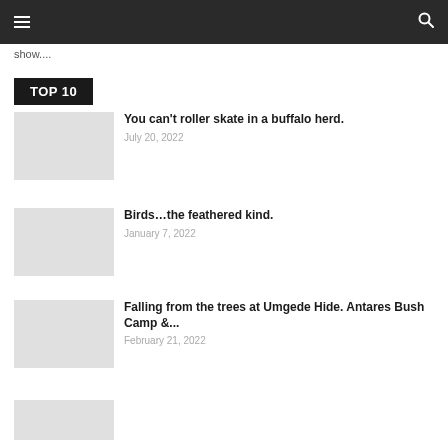≡  🔍
show....
TOP 10
You can't roller skate in a buffalo herd.
July 20, 2022
Birds…the feathered kind.
January 7, 2022
Falling from the trees at Umgede Hide. Antares Bush Camp &...
February 21, 2022